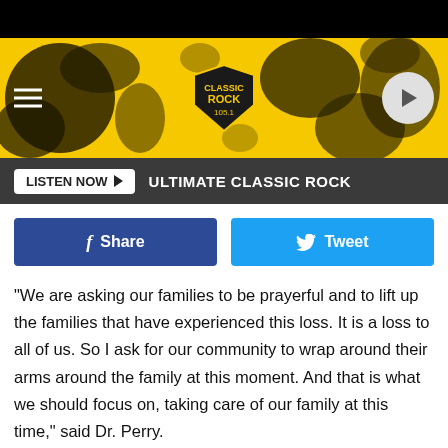[Figure (screenshot): Classic Rock 105.1 radio station yellow and black banner with hamburger menu on left, station logo in center, and play button circle on right]
LISTEN NOW ▶   ULTIMATE CLASSIC ROCK
[Figure (infographic): Facebook Share button (dark blue) and Twitter Tweet button (light blue) social media sharing buttons]
“We are asking our families to be prayerful and to lift up the families that have experienced this loss. It is a loss to all of us. So I ask for our community to wrap around their arms around the family at this moment. And that is what we should focus on, taking care of our family at this time,” said Dr. Perry.
Sanders was also a member of the football team at Baker High. Officials say the rest of the team is now quarantining.